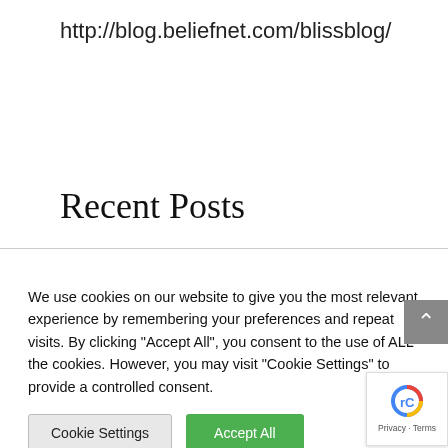http://blog.beliefnet.com/blissblog/
Recent Posts
We use cookies on our website to give you the most relevant experience by remembering your preferences and repeat visits. By clicking "Accept All", you consent to the use of ALL the cookies. However, you may visit "Cookie Settings" to provide a controlled consent.